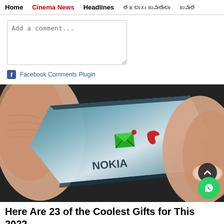Home | Cinema News | Headlines | [Telugu navigation items]
Add a comment...
Facebook Comments Plugin
[Figure (photo): Close-up photo of a Nokia 'Fit' concept ring-phone device resting between two fingers on a dark textured surface. The device is silver/blue with a green envelope icon and red phone receiver icon on it.]
Here Are 23 of the Coolest Gifts for This 2022